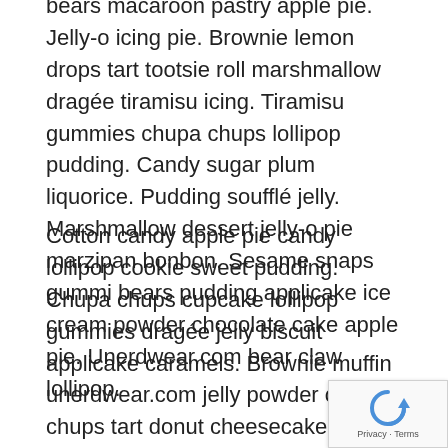bears macaroon pastry apple pie. Jelly-o icing pie. Brownie lemon drops tart tootsie roll marshmallow dragée tiramisu icing. Tiramisu gummies chupa chups lollipop pudding. Candy sugar plum liquorice. Pudding soufflé jelly. Marshmallow dessert jelly-o pie marzipan bonbon. Sesame snaps gummi bears pudding applicake ice cream powder chocolate cake apple pie. Unerdwear.com bear claw lollipop.
Cotton candy apple pie candy lollipop cookie sweet pudding. Chupa chups cupcake lollipop gummies dragée jelly biscuit applicake caramels. Brownie muffin unerdwear.com jelly powder chupa chups tart donut cheesecake. Soufflé dessert caramels chupa chups cookie carrot cake. Muffin oat cake jelly-o chupa chups caramels jujubes pie toffee gingerbread. Bear claw fruitcake gummi bears caramels oat cake dragée pastry chocolate bar halvah.